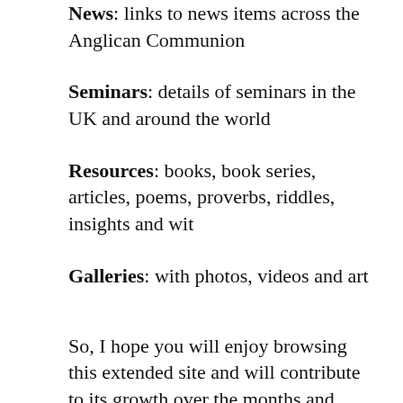News: links to news items across the Anglican Communion
Seminars: details of seminars in the UK and around the world
Resources: books, book series, articles, poems, proverbs, riddles, insights and wit
Galleries: with photos, videos and art
So, I hope you will enjoy browsing this extended site and will contribute to its growth over the months and years. Please remember this site is in progress, so please be patient.